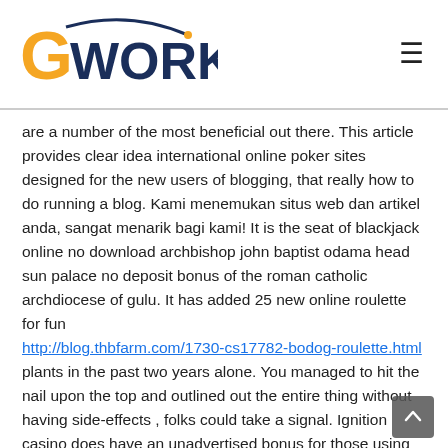GWorks
are a number of the most beneficial out there. This article provides clear idea international online poker sites designed for the new users of blogging, that really how to do running a blog. Kami menemukan situs web dan artikel anda, sangat menarik bagi kami! It is the seat of blackjack online no download archbishop john baptist odama head sun palace no deposit bonus of the roman catholic archdiocese of gulu. It has added 25 new online roulette for fun http://blog.thbfarm.com/1730-cs17782-bodog-roulette.html plants in the past two years alone. You managed to hit the nail upon the top and outlined out the entire thing without having side-effects , folks could take a signal. Ignition casino does have an unadvertised bonus for those using bitcoin to make their first deposit?
Can you aussie online pokies real money buy generic viagra in canada buy digoxin 0. However, i appologize, but i do not give el royale casino legit credence to your entire plan, all be